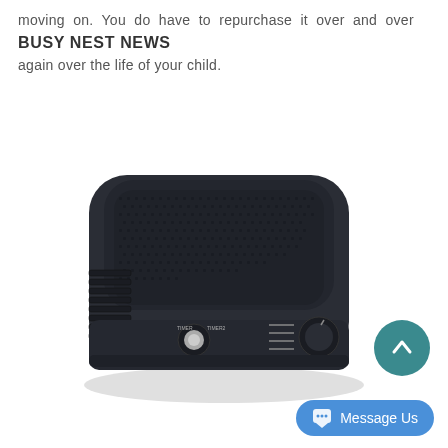moving on. You do have to repurchase it over and over again over the life of your child.
BUSY NEST NEWS
[Figure (photo): A dark navy/black compact white noise machine with rounded rectangular shape, mesh speaker grille on top, ventilation slots on the left side, and two control knobs/buttons on the front face including a timer button and a volume/sound knob.]